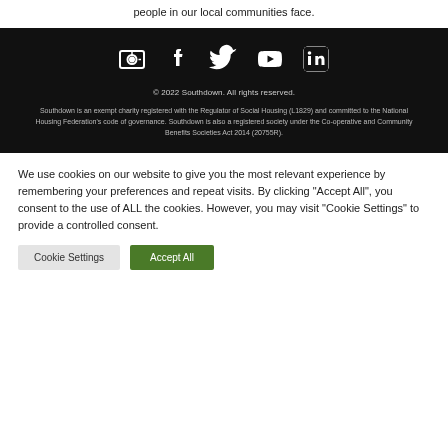people in our local communities face.
[Figure (other): Social media icons: email/newsletter, Facebook, Twitter, YouTube, LinkedIn]
© 2022 Southdown. All rights reserved.
Southdown is an exempt charity registered with the Regulator of Social Housing (L1829) and committed to the National Housing Federation's code of governance. Southdown is also a registered society under the Co-operative and Community Benefits Societies Act 2014 (20755R).
We use cookies on our website to give you the most relevant experience by remembering your preferences and repeat visits. By clicking "Accept All", you consent to the use of ALL the cookies. However, you may visit "Cookie Settings" to provide a controlled consent.
Cookie Settings
Accept All